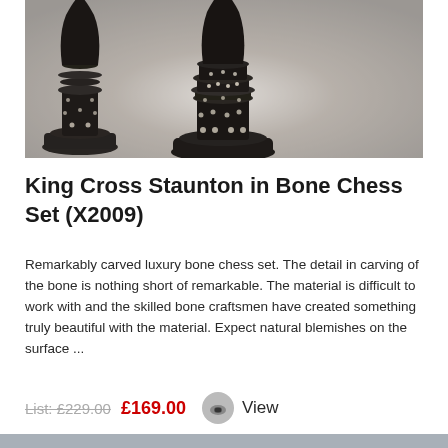[Figure (photo): Close-up photograph of ornate bone chess pieces (King Cross Staunton style) with intricate carved detail, dark background, two pieces visible — a king and another piece]
King Cross Staunton in Bone Chess Set (X2009)
Remarkably carved luxury bone chess set. The detail in carving of the bone is nothing short of remarkable. The material is difficult to work with and the skilled bone craftsmen have created something truly beautiful with the material. Expect natural blemishes on the surface ...
List: £229.00  £169.00   View